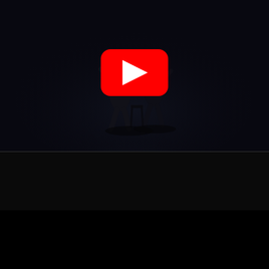[Figure (screenshot): YouTube video thumbnail showing two dancer silhouettes lit by a spotlight from below on a dark stage, with the YouTube play button (red rounded rectangle with white triangle) overlaid in the center]
doNormaal - Revenge (prod. TMLO)